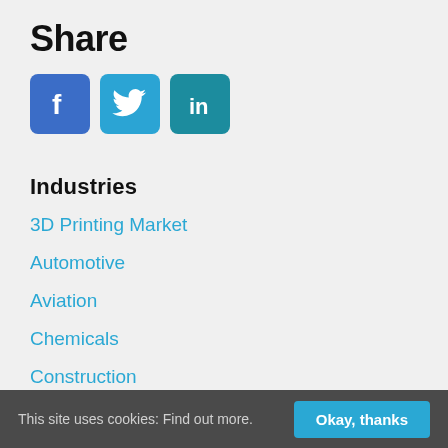Share
[Figure (illustration): Social media share icons: Facebook (blue), Twitter (light blue), LinkedIn (teal)]
Industries
3D Printing Market
Automotive
Aviation
Chemicals
Construction
Cyber
Defence
Electronics
This site uses cookies: Find out more.  Okay, thanks